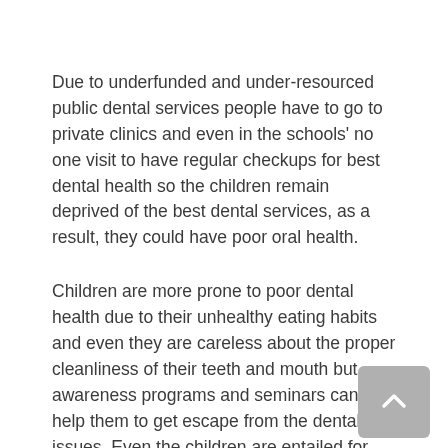Due to underfunded and under-resourced public dental services people have to go to private clinics and even in the schools' no one visit to have regular checkups for best dental health so the children remain deprived of the best dental services, as a result, they could have poor oral health.
Children are more prone to poor dental health due to their unhealthy eating habits and even they are careless about the proper cleanliness of their teeth and mouth but awareness programs and seminars can help them to get escape from the dental issues. Even the children are entailed for three essential screenings of their teeth first in the age of 5 then in 6 and the third one in the age of 7 approximately but if you visit the schools then children will tell you the reality that they have not seen any public dentist in the schools.
Due to lack of public dental services, studies have revealed that children have more issue of tooth decay